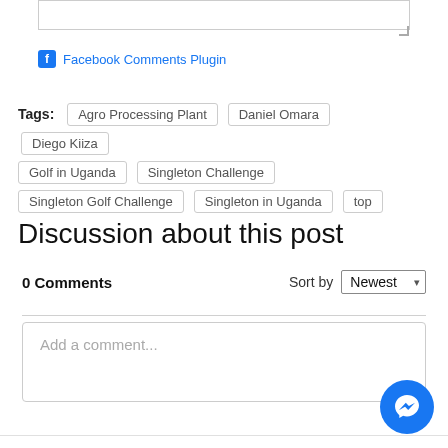[Figure (screenshot): Textarea input stub at top of page]
Facebook Comments Plugin
Tags: Agro Processing Plant  Daniel Omara  Diego Kiiza  Golf in Uganda  Singleton Challenge  Singleton Golf Challenge  Singleton in Uganda  top
Discussion about this post
0 Comments
Sort by Newest
Add a comment...